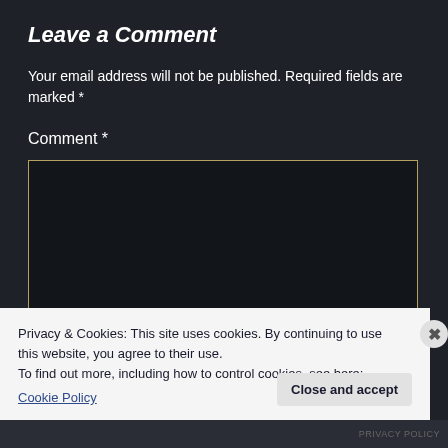Leave a Comment
Your email address will not be published. Required fields are marked *
Comment *
[Figure (screenshot): Empty comment textarea with dark background and gold/yellow border]
Privacy & Cookies: This site uses cookies. By continuing to use this website, you agree to their use.
To find out more, including how to control cookies, see here: Cookie Policy
Close and accept